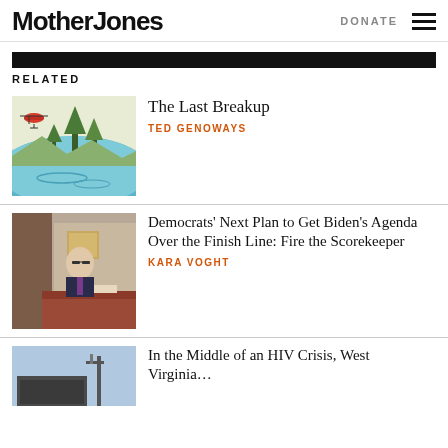Mother Jones | DONATE
RELATED
[Figure (illustration): Illustration showing a red helicopter and colorful painted landscape with trees, water, and mountains]
The Last Breakup
TED GENOWAYS
[Figure (photo): Photo of a man in a suit and glasses speaking at a hearing or official proceeding]
Democrats’ Next Plan to Get Biden’s Agenda Over the Finish Line: Fire the Scorekeeper
KARA VOGHT
[Figure (photo): Partial photo of industrial or street scene]
In the Middle of an HIV Crisis, West Virginia…